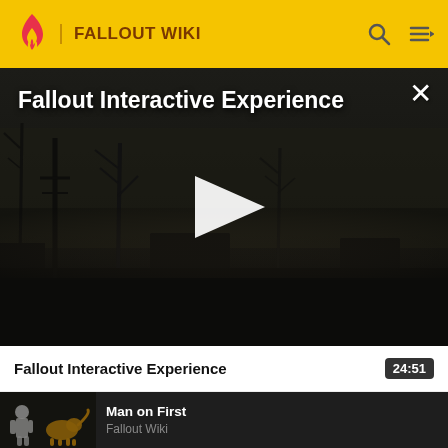FALLOUT WIKI
[Figure (screenshot): Video player showing Fallout Interactive Experience. Dark post-apocalyptic scene with silhouetted dead trees and foggy atmosphere. Large white play button in center. Title 'Fallout Interactive Experience' in white text top-left. Close (X) button top-right.]
Fallout Interactive Experience
24:51
[Figure (screenshot): Thumbnail for next video 'Man on First' showing animated fallout-style characters including a dog, dark background.]
Man on First
Fallout Wiki